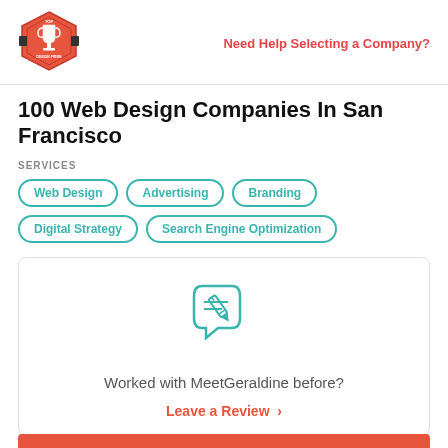[Figure (logo): Top Design Firms red hexagon logo with trophy icon]
Need Help Selecting a Company?
100 Web Design Companies In San Francisco
SERVICES
Web Design
Advertising
Branding
Digital Strategy
Search Engine Optimization
[Figure (illustration): Teal outline icon of a chat bubble with a pencil writing on a notepad]
Worked with MeetGeraldine before?
Leave a Review >